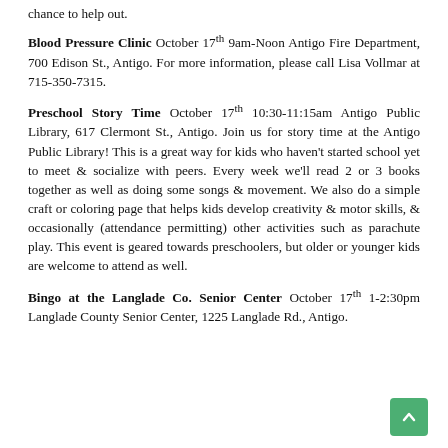chance to help out.
Blood Pressure Clinic October 17th 9am-Noon Antigo Fire Department, 700 Edison St., Antigo. For more information, please call Lisa Vollmar at 715-350-7315.
Preschool Story Time October 17th 10:30-11:15am Antigo Public Library, 617 Clermont St., Antigo. Join us for story time at the Antigo Public Library! This is a great way for kids who haven't started school yet to meet & socialize with peers. Every week we'll read 2 or 3 books together as well as doing some songs & movement. We also do a simple craft or coloring page that helps kids develop creativity & motor skills, & occasionally (attendance permitting) other activities such as parachute play. This event is geared towards preschoolers, but older or younger kids are welcome to attend as well.
Bingo at the Langlade Co. Senior Center October 17th 1-2:30pm Langlade County Senior Center, 1225 Langlade Rd., Antigo.